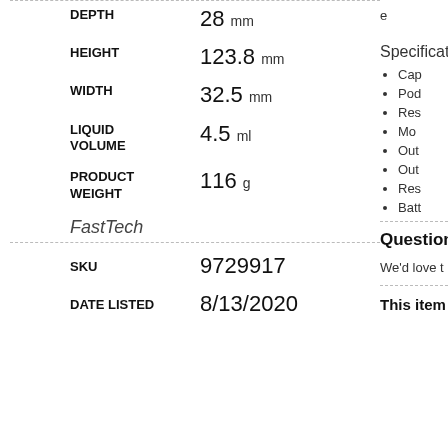| Attribute | Value |
| --- | --- |
| DEPTH | 28 mm |
| HEIGHT | 123.8 mm |
| WIDTH | 32.5 mm |
| LIQUID VOLUME | 4.5 ml |
| PRODUCT WEIGHT | 116 g |
FastTech
| Attribute | Value |
| --- | --- |
| SKU | 9729917 |
| DATE LISTED | 8/13/2020 |
Specificat...
Cap...
Pod...
Res...
Mod...
Out...
Out...
Res...
Batt...
Questions?
We'd love to...
This item is...